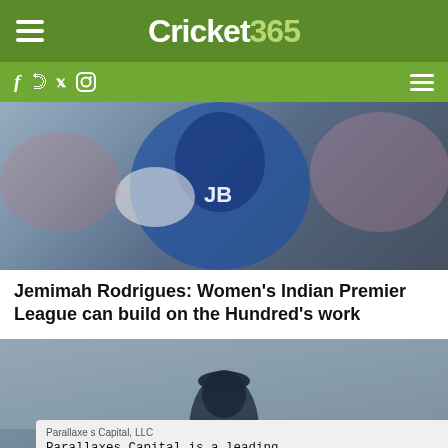Cricket365
[Figure (photo): Cricket player in blue England kit batting, white gloves, helmet, blur background crowd]
Jemimah Rodrigues: Women's Indian Premier League can build on the Hundred's work
[Figure (photo): Cricket player in England navy uniform on field, crowd in background, advertisement overlay visible]
Parallaxe s Capital, LLC
Parallaxes Capital is a leading alternative asset manager focused on esoteric assets